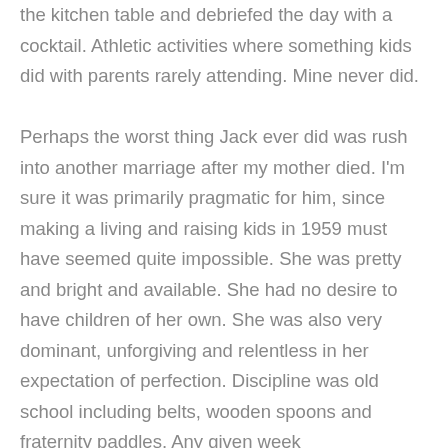the kitchen table and debriefed the day with a cocktail. Athletic activities where something kids did with parents rarely attending. Mine never did.

Perhaps the worst thing Jack ever did was rush into another marriage after my mother died. I'm sure it was primarily pragmatic for him, since making a living and raising kids in 1959 must have seemed quite impossible. She was pretty and bright and available. She had no desire to have children of her own. She was also very dominant, unforgiving and relentless in her expectation of perfection. Discipline was old school including belts, wooden spoons and fraternity paddles. Any given week